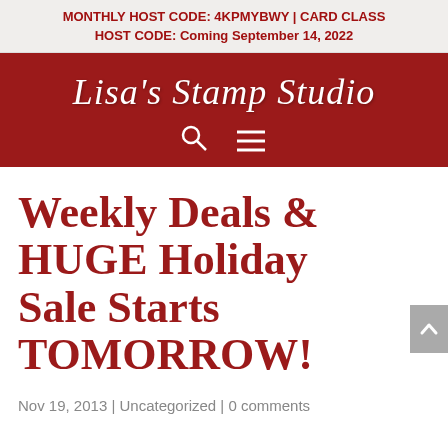MONTHLY HOST CODE: 4KPMYBWY | CARD CLASS HOST CODE: Coming September 14, 2022
[Figure (logo): Lisa's Stamp Studio logo on dark red background with search and menu icons]
Weekly Deals & HUGE Holiday Sale Starts TOMORROW!
Nov 19, 2013 | Uncategorized | 0 comments